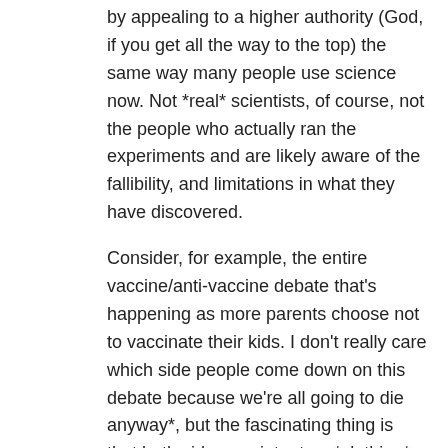by appealing to a higher authority (God, if you get all the way to the top) the same way many people use science now. Not *real* scientists, of course, not the people who actually ran the experiments and are likely aware of the fallibility, and limitations in what they have discovered.
Consider, for example, the entire vaccine/anti-vaccine debate that's happening as more parents choose not to vaccinate their kids. I don't really care which side people come down on this debate because we're all going to die anyway*, but the fascinating thing is that both sides are intent on *clothing* their arguments in the *appearance* of science, or appealing to scientific authority.
Check out this article on Jenny McCarthy on hollywoodlife. Actually, you probably shouldn't, but checkout a few choice quotes:
despite all the medical research and recommendations by the World Health Organization